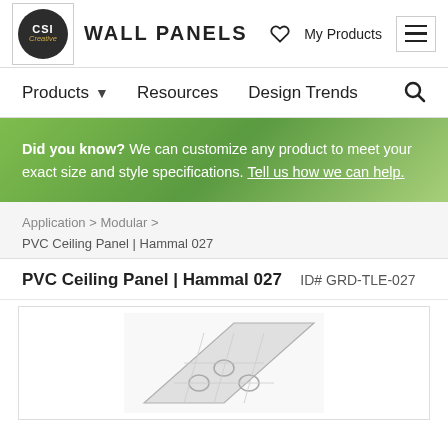CSI Creative WALL PANELS | My Products
Products ▾  Resources  Design Trends
Did you know? We can customize any product to meet your exact size and style specifications. Tell us how we can help.
Application > Modular > PVC Ceiling Panel | Hammal 027
PVC Ceiling Panel | Hammal 027   ID# GRD-TLE-027
[Figure (photo): Partial view of a PVC ceiling panel product (Hammal 027), showing a decorative panel with curved cutout patterns.]